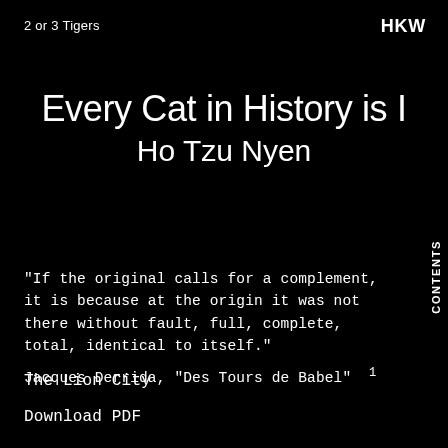2 or 3 Tigers
HKW
Every Cat in History is I
Ho Tzu Nyen
“If the original calls for a complement, it is because at the origin it was not there without fault, full, complete, total, identical to itself.” Jacques Derrida, “Des Tours de Babel” 1
CONTENTS
The Lion City
Download PDF